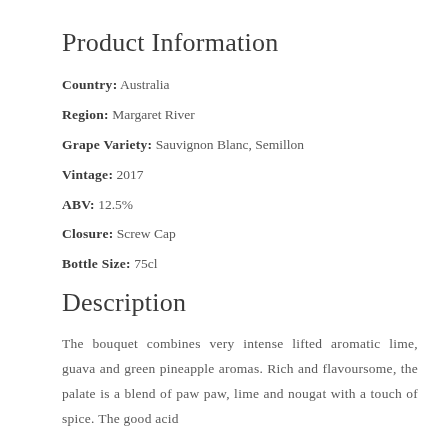Product Information
Country: Australia
Region: Margaret River
Grape Variety: Sauvignon Blanc, Semillon
Vintage: 2017
ABV: 12.5%
Closure: Screw Cap
Bottle Size: 75cl
Description
The bouquet combines very intense lifted aromatic lime, guava and green pineapple aromas. Rich and flavoursome, the palate is a blend of paw paw, lime and nougat with a touch of spice. The good acid